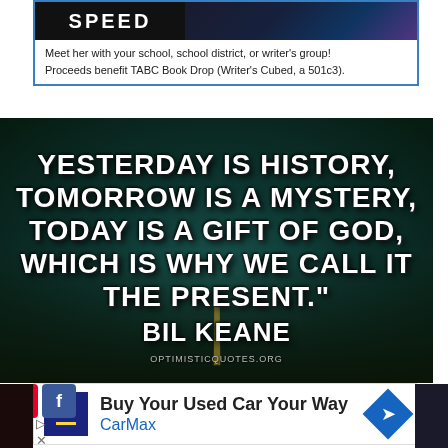[Figure (screenshot): Top advertisement banner with bold text and road image, text reads: Meet her with your school, school district, or writer's group! Proceeds benefit TABC Book Drop (Writer's Cubed, a 501c3).]
[Figure (photo): Inspirational quote image over a foggy road background. Text: YESTERDAY IS HISTORY, TOMORROW IS A MYSTERY, TODAY IS A GIFT OF GOD, WHICH IS WHY WE CALL IT THE PRESENT. BIL KEANE. OPTIMISTICQUOTES.ORG]
[Figure (screenshot): CarMax advertisement: Buy Your Used Car Your Way, CarMax, with logo and navigation arrow icon.]